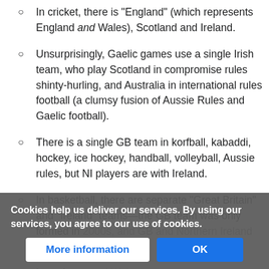In cricket, there is "England" (which represents England and Wales), Scotland and Ireland.
Unsurprisingly, Gaelic games use a single Irish team, who play Scotland in compromise rules shinty-hurling, and Australia in international rules football (a clumsy fusion of Aussie Rules and Gaelic football).
There is a single GB team in korfball, kabaddi, hockey, ice hockey, handball, volleyball, Aussie rules, but NI players are with Ireland.
In basketball, there are separate "Great Britain" and "Ireland" teams—the GB team was only formed in [year], and GB and Ireland still play each other.
In rugby [rest obscured] and Wales
Cookies help us deliver our services. By using our services, you agree to our use of cookies.